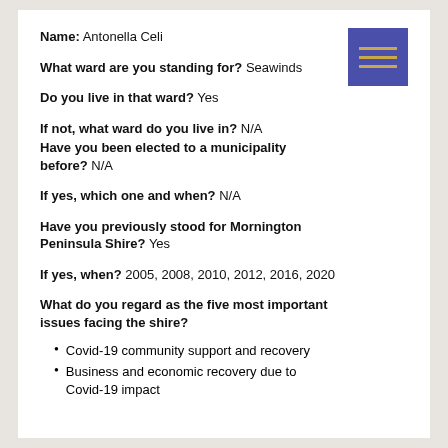Name: Antonella Celi
What ward are you standing for? Seawinds
Do you live in that ward? Yes
If not, what ward do you live in? N/A
Have you been elected to a municipality before? N/A
If yes, which one and when? N/A
Have you previously stood for Mornington Peninsula Shire? Yes
If yes, when? 2005, 2008, 2010, 2012, 2016, 2020
What do you regard as the five most important issues facing the shire?
Covid-19 community support and recovery
Business and economic recovery due to Covid-19 impact